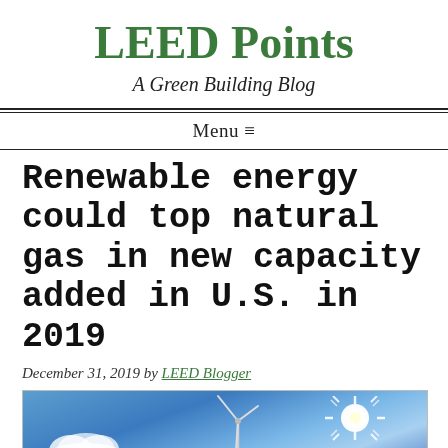LEED Points
A Green Building Blog
Menu ≡
Renewable energy could top natural gas in new capacity added in U.S. in 2019
December 31, 2019 by LEED Blogger
[Figure (photo): Photo of a wind turbine against a bright blue sky with sun flare and clouds]